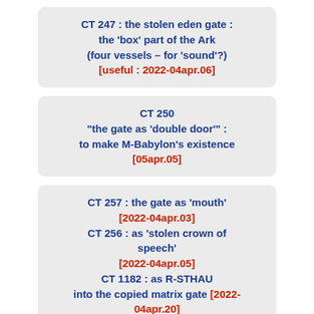CT 247 : the stolen eden gate : the 'box' part of the Ark (four vessels – for 'sound'?) [useful : 2022-04apr.06]
CT 250 "the gate as 'double door'" : to make M-Babylon's existence [05apr.05]
CT 257 : the gate as 'mouth' [2022-04apr.03] CT 256 : as 'stolen crown of speech' [2022-04apr.05] CT 1182 : as R-STHAU into the copied matrix gate [2022-04apr.20] CT 1150